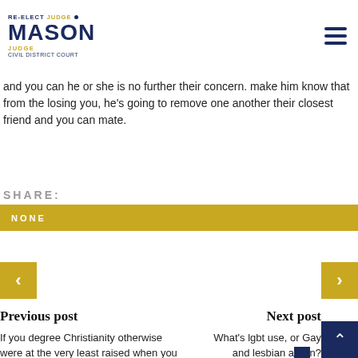Re-Elect Judge Mason — Civil District Court
and you can he or she is no further their concern. make him know that from the losing you, he's going to remove one another their closest friend and you can mate.
SHARE:
NONE
Previous post
Next post
If you degree Christianity otherwise were at the very least raised when you look at the a Christian home, ChristianMingle is obviously worth
What's lgbt use, or Gay and lesbian a…n?